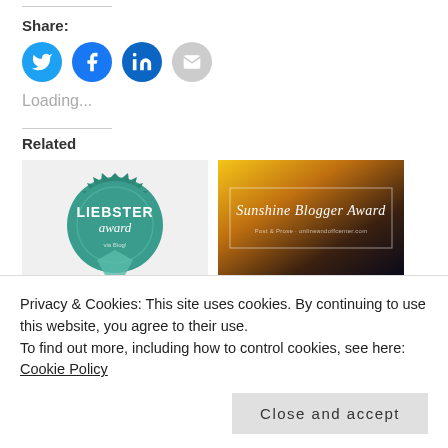Share:
[Figure (infographic): Four social sharing icon circles: Twitter (blue), Facebook (blue), LinkedIn (dark blue), Email (grey)]
Loading...
Related
[Figure (photo): Liebster Award badge - teal/green circular serrated badge with text 'LIEBSTER award']
[Figure (photo): Sunshine Blogger Award - dark background with sunflower, white italic text 'Sunshine Blogger Award']
Privacy & Cookies: This site uses cookies. By continuing to use this website, you agree to their use.
To find out more, including how to control cookies, see here: Cookie Policy
Close and accept